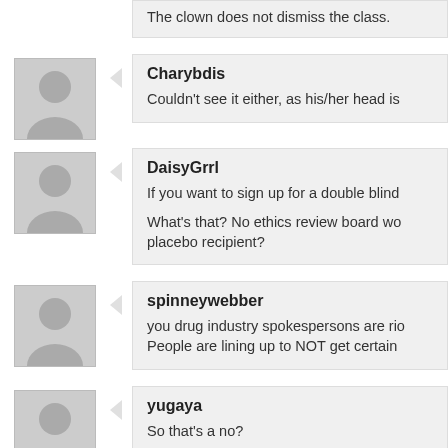The clown does not dismiss the class.
Charybdis
Couldn't see it either, as his/her head is
DaisyGrrl
If you want to sign up for a double blind
What's that? No ethics review board wo placebo recipient?
spinneywebber
you drug industry spokespersons are rio People are lining up to NOT get certain
yugaya
So that's a no?